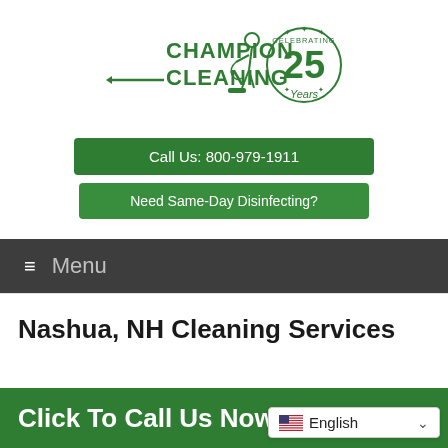[Figure (logo): Champion Cleaning logo with a figure vacuuming and 'Celebrating 25 Years' badge in green]
Call Us: 800-979-1911
Need Same-Day Disinfecting?
☰ Menu
Nashua, NH Cleaning Services
Click To Call Us Now!
🇺🇸 English